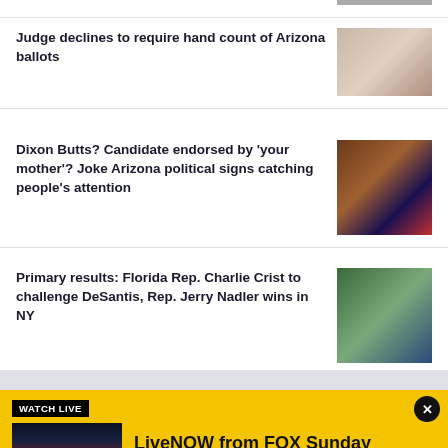Judge declines to require hand count of Arizona ballots
[Figure (photo): Photo of ballot papers being handled]
Dixon Butts? Candidate endorsed by 'your mother'? Joke Arizona political signs catching people's attention
[Figure (photo): Photo of Arizona political campaign signs]
Primary results: Florida Rep. Charlie Crist to challenge DeSantis, Rep. Jerry Nadler wins in NY
[Figure (photo): Photo of Charlie Crist at campaign event]
WATCH LIVE
[Figure (photo): FOX 10 Phoenix logo with sunset background]
LiveNOW from FOX Sunday
Watch a non-stop stream of breaking news, live events and stories across the nation.